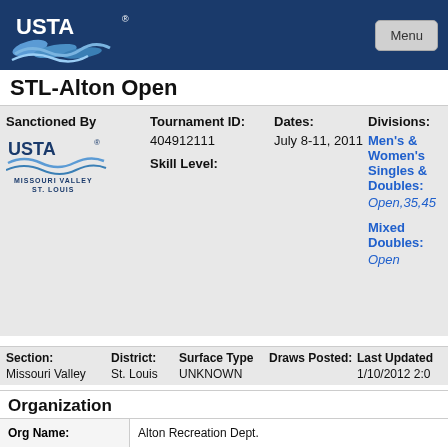USTA Menu
STL-Alton Open
| Sanctioned By | Tournament ID: | Dates: | Divisions: |
| --- | --- | --- | --- |
| USTA Missouri Valley St. Louis | 404912111
Skill Level: | July 8-11, 2011 | Men's & Women's Singles & Doubles: Open,35,45
Mixed Doubles: Open |
| Section: | District: | Surface Type | Draws Posted: | Last Updated |
| --- | --- | --- | --- | --- |
| Missouri Valley | St. Louis | UNKNOWN |  | 1/10/2012 2:0 |
Organization
| Org Name: |
| --- |
| Alton Recreation Dept. |